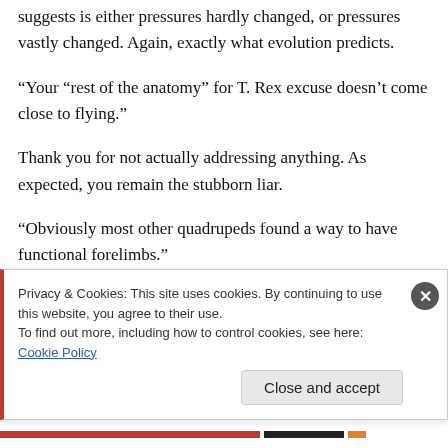suggests is either pressures hardly changed, or pressures vastly changed. Again, exactly what evolution predicts.
“Your “rest of the anatomy” for T. Rex excuse doesn’t come close to flying.”
Thank you for not actually addressing anything. As expected, you remain the stubborn liar.
“Obviously most other quadrupeds found a way to have functional forelimbs.”
Privacy & Cookies: This site uses cookies. By continuing to use this website, you agree to their use.
To find out more, including how to control cookies, see here: Cookie Policy
Close and accept